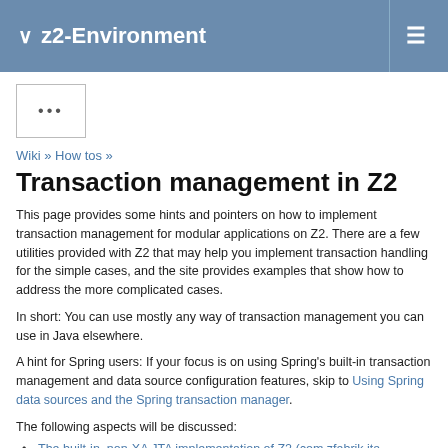z2-Environment
Wiki » How tos »
Transaction management in Z2
This page provides some hints and pointers on how to implement transaction management for modular applications on Z2. There are a few utilities provided with Z2 that may help you implement transaction handling for the simple cases, and the site provides examples that show how to address the more complicated cases.
In short: You can use mostly any way of transaction management you can use in Java elsewhere.
A hint for Spring users: If your focus is on using Spring's built-in transaction management and data source configuration features, skip to Using Spring data sources and the Spring transaction manager.
The following aspects will be discussed:
The built-in, non-XA JTA implementation of Z2 (com.zfabrik.jta)